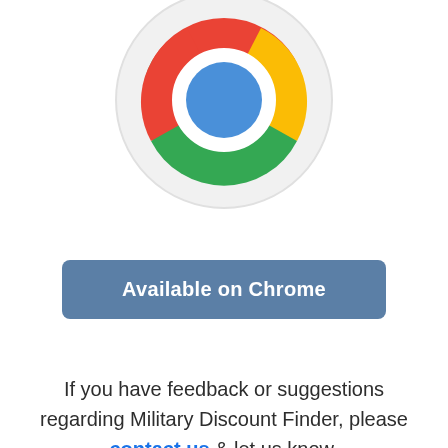[Figure (logo): Google Chrome browser logo: circular icon with red, green, yellow segments and a blue circle in the center, on a light gray circle background]
[Figure (other): Blue rounded-rectangle button with white bold text reading 'Available on Chrome']
If you have feedback or suggestions regarding Military Discount Finder, please contact us & let us know.